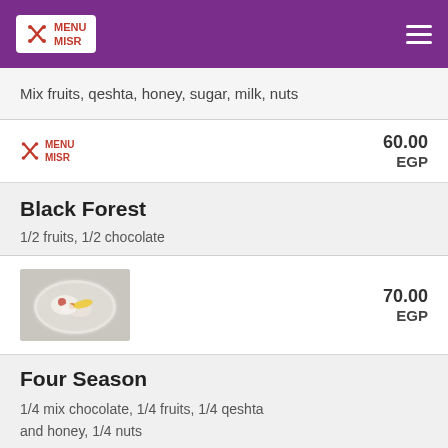MENU MISR
Mix fruits, qeshta, honey, sugar, milk, nuts
60.00 EGP
Black Forest
1/2 fruits, 1/2 chocolate
[Figure (photo): Photo of a dessert plate with Black Forest topping]
70.00 EGP
Four Season
1/4 mix chocolate, 1/4 fruits, 1/4 qeshta and honey, 1/4 nuts
32.00 EGP